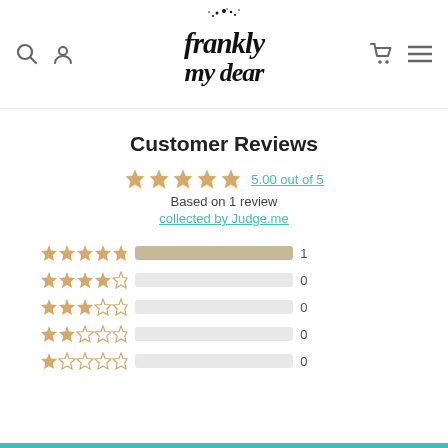[Figure (logo): Frankly My Dear handwritten-style logo with ink splatter above text]
Customer Reviews
5.00 out of 5
Based on 1 review
collected by Judge.me
[Figure (infographic): Star rating breakdown bars: 5-star=1, 4-star=0, 3-star=0, 2-star=0, 1-star=0]